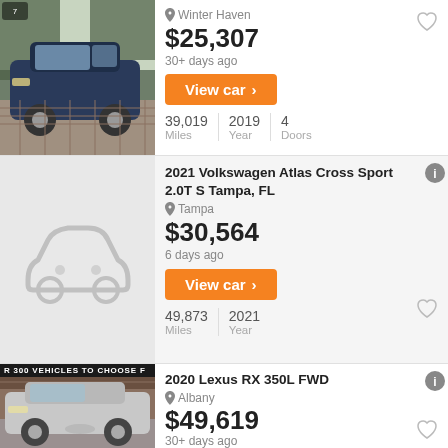[Figure (photo): Blue Kia Sorento SUV parked on a checkered brick surface with trees in background]
Winter Haven
$25,307
30+ days ago
View car >
39,019 Miles | 2019 Year | 4 Doors
[Figure (illustration): Gray placeholder car silhouette icon]
2021 Volkswagen Atlas Cross Sport 2.0T S Tampa, FL
Tampa
$30,564
6 days ago
View car >
49,873 Miles | 2021 Year
[Figure (photo): Silver Lexus RX 350L FWD SUV with ad banner reading R 300 VEHICLES TO CHOOSE F]
2020 Lexus RX 350L FWD
Albany
$49,619
30+ days ago
View car >